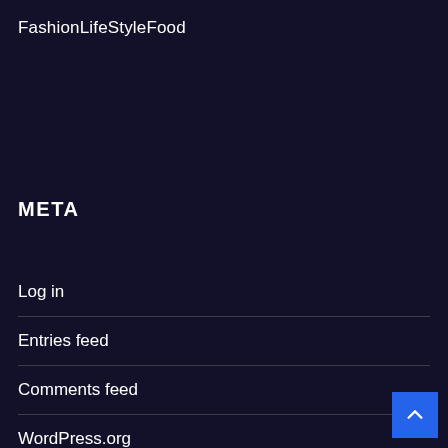FashionLifeStyleFood
META
Log in
Entries feed
Comments feed
WordPress.org